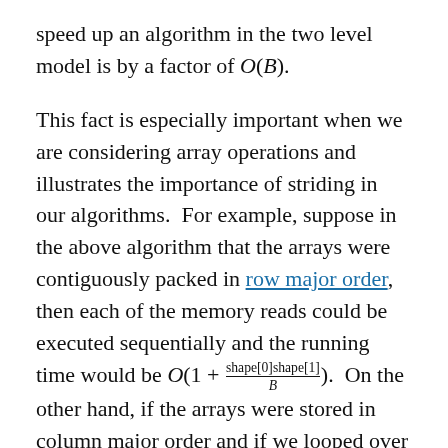speed up an algorithm in the two level model is by a factor of O(B).
This fact is especially important when we are considering array operations and illustrates the importance of striding in our algorithms. For example, suppose in the above algorithm that the arrays were contiguously packed in row major order, then each of the memory reads could be executed sequentially and the running time would be O(1 + shape[0]shape[1]/B). On the other hand, if the arrays were stored in column major order and if we looped over them in the same order, then we would get no advantage from blocked IO operations and so the cost of executing the algorithm would be